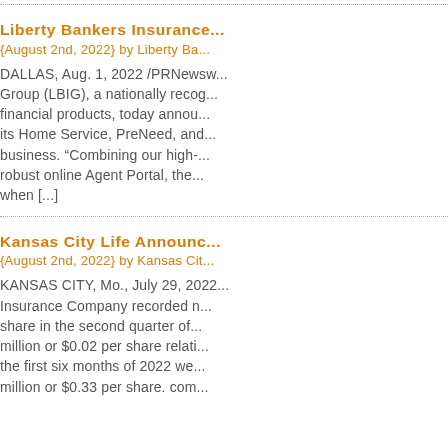Liberty Bankers Insurance...
{August 2nd, 2022} by Liberty Ba...
DALLAS, Aug. 1, 2022 /PRNewsw... Group (LBIG), a nationally recog... financial products, today annou... its Home Service, PreNeed, and... business. “Combining our high-... robust online Agent Portal, the... when [...]
Kansas City Life Announc...
{August 2nd, 2022} by Kansas Cit...
KANSAS CITY, Mo., July 29, 2022... Insurance Company recorded n... share in the second quarter of... million or $0.02 per share relati... the first six months of 2022 we... million or $0.33 per share. com...